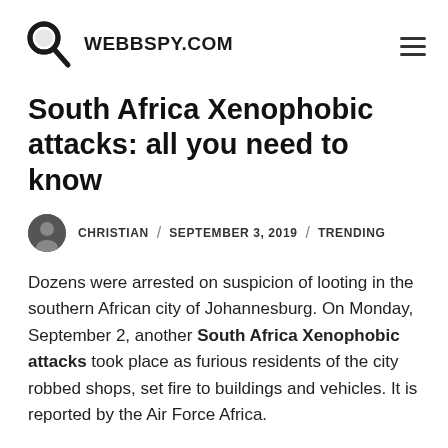WEBBSPY.COM
South Africa Xenophobic attacks: all you need to know
CHRISTIAN / SEPTEMBER 3, 2019 / TRENDING
Dozens were arrested on suspicion of looting in the southern African city of Johannesburg. On Monday, September 2, another South Africa Xenophobic attacks took place as furious residents of the city robbed shops, set fire to buildings and vehicles. It is reported by the Air Force Africa.